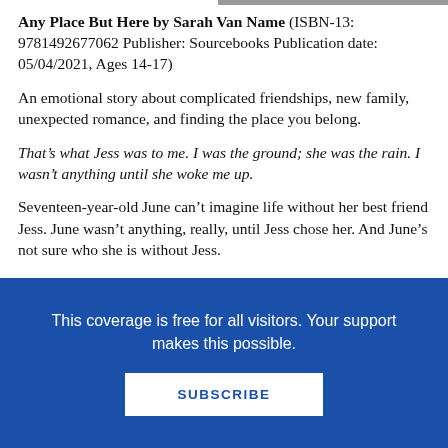Any Place But Here by Sarah Van Name (ISBN-13: 9781492677062 Publisher: Sourcebooks Publication date: 05/04/2021, Ages 14-17)
An emotional story about complicated friendships, new family, unexpected romance, and finding the place you belong.
That’s what Jess was to me. I was the ground; she was the rain. I wasn’t anything until she woke me up.
Seventeen-year-old June can’t imagine life without her best friend Jess. June wasn’t anything, really, until Jess chose her. And June’s not sure who she is without Jess.
This coverage is free for all visitors. Your support makes this possible.